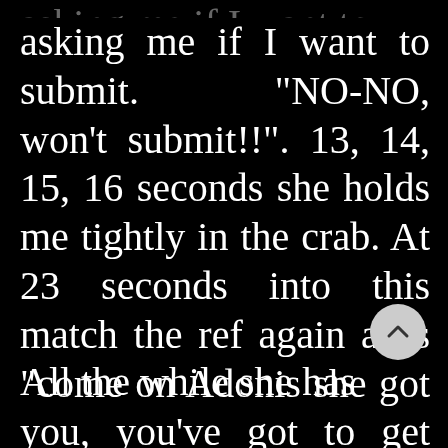asking me if I want to submit. “NO-NO, won’t submit!!”. 13, 14, 15, 16 seconds she holds me tightly in the crab. At 23 seconds into this match the ref again asks “come on Adonis she got you, you’ve got to get free or submit!!” again I say No.

All the while she has